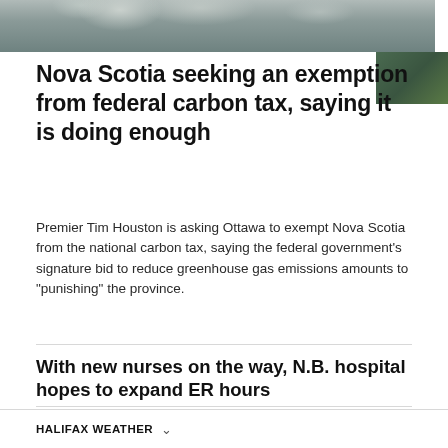[Figure (photo): Aerial or industrial scene with smoke/steam from stacks, dark tones, with a small inset image of green foliage in top right]
Nova Scotia seeking an exemption from federal carbon tax, saying it is doing enough
Premier Tim Houston is asking Ottawa to exempt Nova Scotia from the national carbon tax, saying the federal government's signature bid to reduce greenhouse gas emissions amounts to "punishing" the province.
With new nurses on the way, N.B. hospital hopes to expand ER hours
Some N.B. municipal police forces making changes after Chantel Moore inquest recommendations
HALIFAX WEATHER